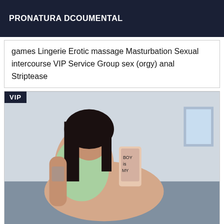PRONATURA DCOUMENTAL
games Lingerie Erotic massage Masturbation Sexual intercourse VIP Service Group sex (orgy) anal Striptease
[Figure (photo): A woman with long dark hair wearing a light green top takes a mirror selfie while lying on a bed. She holds a smartphone with a decorative case. A VIP badge appears in the top-left corner of the image.]